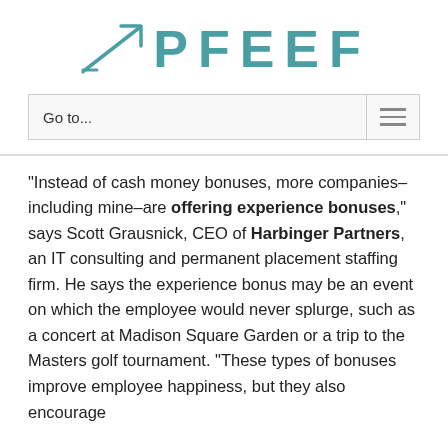[Figure (logo): PFEEF logo with teal upward trending arrow/chart icon and teal bold text 'PFEEF']
Go to...
“Instead of cash money bonuses, more companies–including mine–are offering experience bonuses,” says Scott Grausnick, CEO of Harbinger Partners, an IT consulting and permanent placement staffing firm. He says the experience bonus may be an event on which the employee would never splurge, such as a concert at Madison Square Garden or a trip to the Masters golf tournament. “These types of bonuses improve employee happiness, but they also encourage